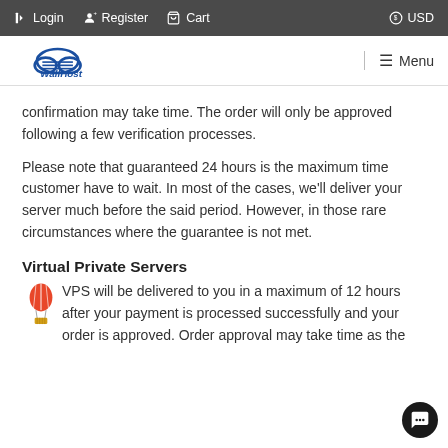Login  Register  Cart  USD
[Figure (logo): WallHost cloud logo with menu navigation bar]
confirmation may take time. The order will only be approved following a few verification processes.
Please note that guaranteed 24 hours is the maximum time customer have to wait. In most of the cases, we'll deliver your server much before the said period. However, in those rare circumstances where the guarantee is not met.
Virtual Private Servers
VPS will be delivered to you in a maximum of 12 hours after your payment is processed successfully and your order is approved. Order approval may take time as the